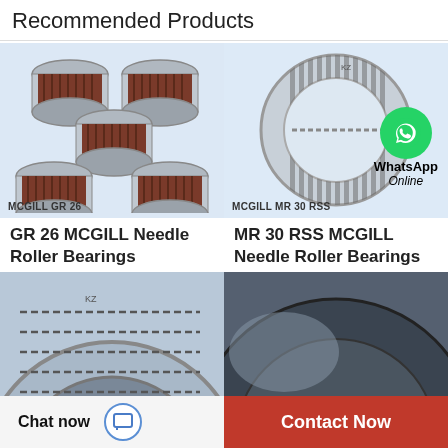Recommended Products
[Figure (photo): Five small needle roller bearings (MCGILL GR 26) arranged on a light blue background, with label MCGILL GR 26]
[Figure (photo): Large needle roller bearing (MCGILL MR 30 RSS) on light blue background with WhatsApp Online overlay, label MCGILL MR 30 RSS]
GR 26 MCGILL Needle Roller Bearings
MR 30 RSS MCGILL Needle Roller Bearings
[Figure (photo): Partial view of a needle roller bearing on blue-gray background (bottom left)]
[Figure (photo): Partial view of a bearing on dark background (bottom right)]
Chat now
Contact Now